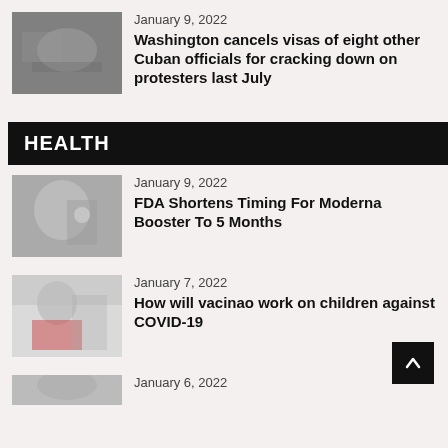[Figure (photo): Black and white photo related to Cuba officials news]
January 9, 2022
Washington cancels visas of eight other Cuban officials for cracking down on protesters last July
HEALTH
[Figure (photo): Person in protective medical gear holding syringe]
January 9, 2022
FDA Shortens Timing For Moderna Booster To 5 Months
[Figure (photo): Child receiving vaccine shot with mask on, in red shirt]
January 7, 2022
How will vacinao work on children against COVID-19
[Figure (photo): Partially visible photo at bottom of page]
January 6, 2022